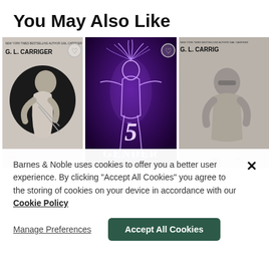You May Also Like
[Figure (illustration): Row of three book covers: two G.L. Carriger books in grayscale and The 5th Gender book with purple background]
Barnes & Noble uses cookies to offer you a better user experience. By clicking "Accept All Cookies" you agree to the storing of cookies on your device in accordance with our Cookie Policy
Manage Preferences
Accept All Cookies